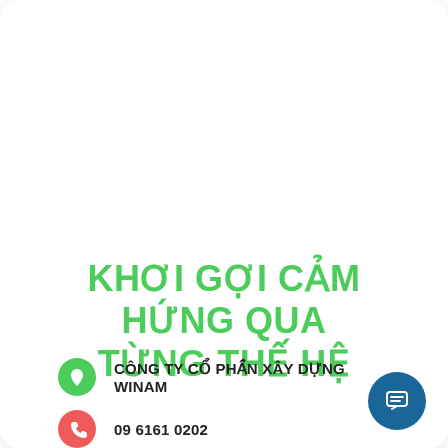KHƠI GỢI CẢM HỨNG QUA TỪNG THẾ HỆ
CÔNG TY CỔ PHẦN XÂY DỰNG WINAM
09 6161 0202
contact@winamgroup.net